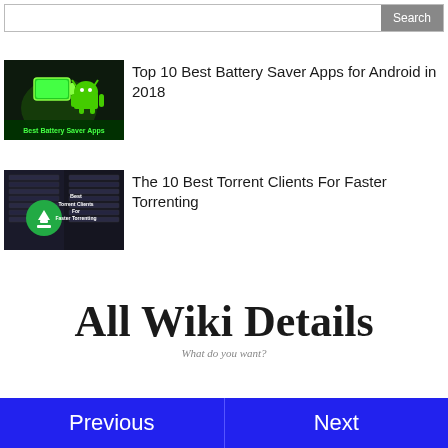Search
[Figure (screenshot): Thumbnail image for Best Battery Saver Apps article showing green battery and Android robot on dark background with text 'Best Battery Saver Apps']
Top 10 Best Battery Saver Apps for Android in 2018
[Figure (screenshot): Thumbnail image for Best Torrent Clients article showing server racks background with download icon and text 'Best Torrent Clients For Faster Torrenting']
The 10 Best Torrent Clients For Faster Torrenting
[Figure (logo): All Wiki Details logo with tagline 'What do you want?']
Previous | Next